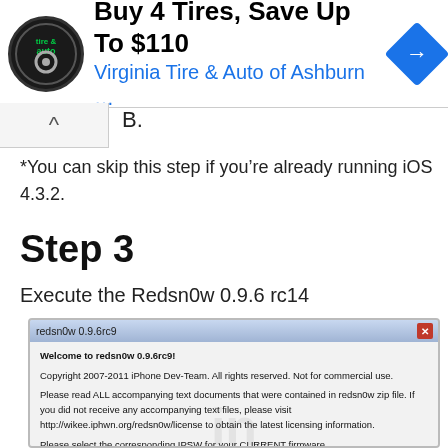[Figure (screenshot): Advertisement banner for Virginia Tire & Auto of Ashburn featuring logo, headline 'Buy 4 Tires, Save Up To $110', blue subtext, and navigation arrow icon]
B.
*You can skip this step if you’re already running iOS 4.3.2.
Step 3
Execute the Redsn0w 0.9.6 rc14
[Figure (screenshot): Screenshot of redsn0w 0.9.6rc9 application window showing welcome message, copyright notice, license information, and prompt to select IPSW for current firmware]